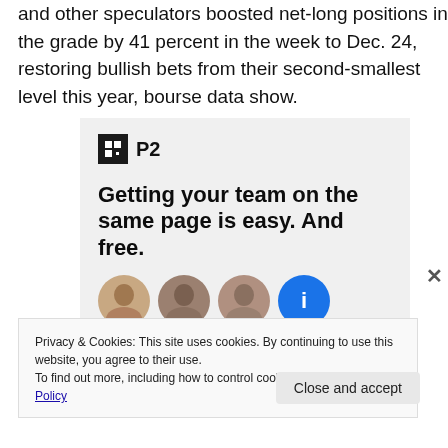and other speculators boosted net-long positions in the grade by 41 percent in the week to Dec. 24, restoring bullish bets from their second-smallest level this year, bourse data show.
[Figure (other): P2 advertisement box with logo, headline 'Getting your team on the same page is easy. And free.' and user avatars]
Privacy & Cookies: This site uses cookies. By continuing to use this website, you agree to their use.
To find out more, including how to control cookies, see here: Cookie Policy